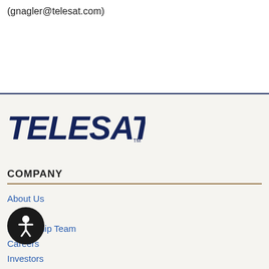(gnagler@telesat.com)
[Figure (logo): Telesat logo in dark navy blue italic bold text with lightning bolt accent on the T]
COMPANY
About Us
Leadership Team
Careers
Investors